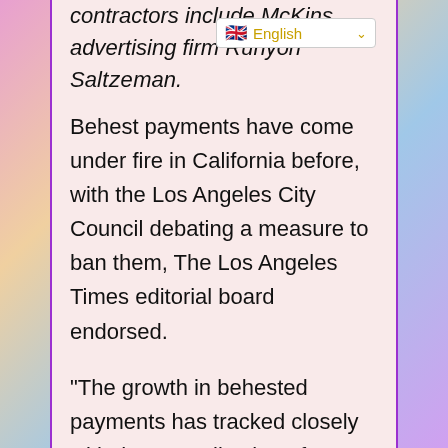contractors include McKins... advertising firm Runyon Saltzman.
[Figure (screenshot): Language selector bar showing UK flag and 'English' label in yellow/orange with a dropdown arrow]
Behest payments have come under fire in California before, with the Los Angeles City Council debating a measure to ban them, The Los Angeles Times editorial board endorsed.
“The growth in behested payments has tracked closely with the centralization of political power during the pandemic. While Newsom raised $226 million in 2020, he only raised $12 million the year before. That spike is unique to Newsom. Behested payments to state legislators and other officials were down in 2020. Even if you exclude payments that